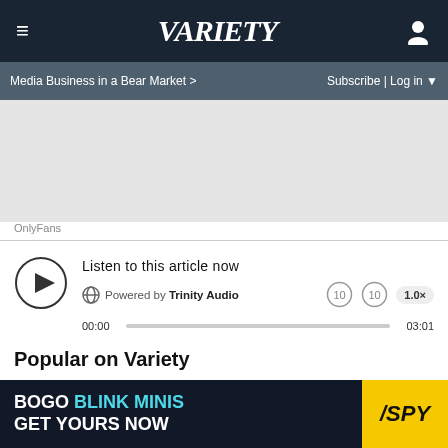≡  VARIETY  [user icon]
Media Business in a Bear Market >   Subscribe | Log in ▼
[Figure (other): Gray advertisement placeholder rectangle]
OnlyFans
[Figure (other): Audio player widget: play button, globe icon, 'Listen to this article now', Powered by Trinity Audio, skip-back/skip-forward controls, speed 1.0x, progress bar 00:00 to 03:01]
Popular on Variety
[Figure (photo): Thumbnail image strip showing people/content for Popular on Variety section]
[Figure (other): Bottom advertisement banner: BOGO BLINK MINIS GET YOURS NOW with /SPY logo badge, close X button]